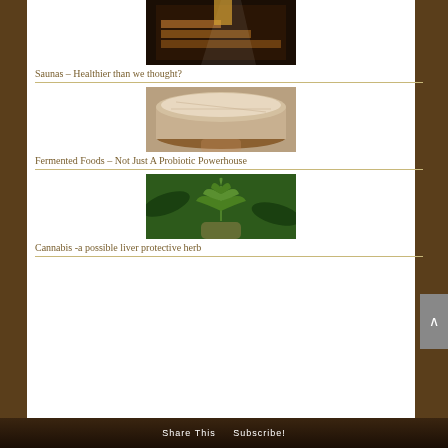[Figure (photo): Sauna interior with wooden benches and dramatic lighting]
Saunas – Healthier than we thought?
[Figure (photo): Fermented food - bread dough or grain fermentation in a pan]
Fermented Foods – Not Just A Probiotic Powerhouse
[Figure (photo): Hand holding a cannabis leaf against a green background]
Cannabis -a possible liver protective herb
Share This  Subscribe!